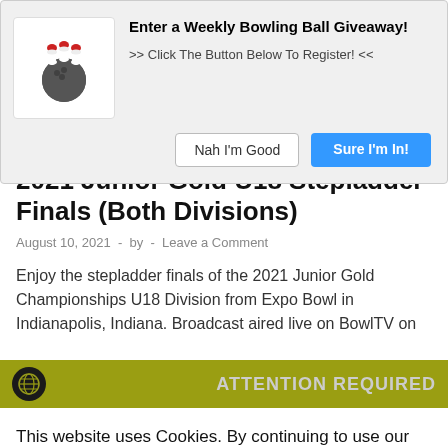[Figure (other): Bowling ball giveaway popup with bowling ball and pins icon, headline 'Enter a Weekly Bowling Ball Giveaway!', subtext '>> Click The Button Below To Register! <<', and two buttons: 'Nah I'm Good' and 'Sure I'm In!']
2021 Junior Gold U18 Stepladder Finals (Both Divisions)
August 10, 2021  -  by  -  Leave a Comment
Enjoy the stepladder finals of the 2021 Junior Gold Championships U18 Division from Expo Bowl in Indianapolis, Indiana. Broadcast aired live on BowlTV on
[Figure (screenshot): Cookie consent banner with olive/yellow attention bar showing globe icon and 'ATTENTION REQUIRED' text, white cookie notice body with text 'This website uses Cookies. By continuing to use our site, you consent to the use of cookies.', and two buttons: 'Accept' (green) and 'Privacy Center' (dark navy)]